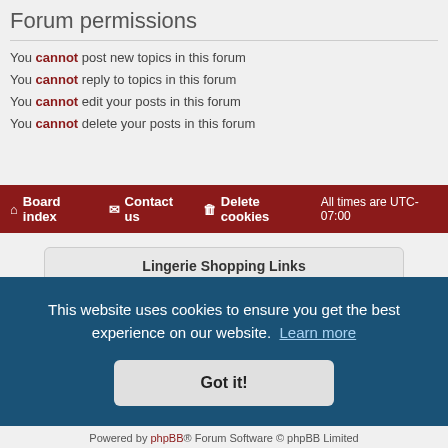Forum permissions
You cannot post new topics in this forum
You cannot reply to topics in this forum
You cannot edit your posts in this forum
You cannot delete your posts in this forum
Board index   Contact us   Delete cookies   All times are UTC-07:00
Lingerie Shopping Links
Honoring Intimates - No nudity lingerie
Mentionables - Handmade, classy lingerie
TMB STUFF
This website uses cookies to ensure you get the best experience on our website. Learn more
Got it!
Powered by phpBB® Forum Software © phpBB Limited